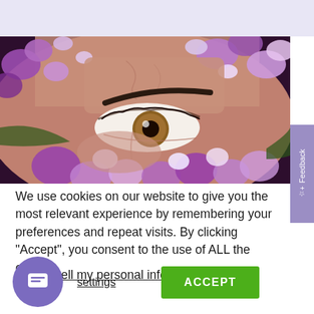[Figure (photo): Close-up photo of a human eye surrounded by purple and white lilac flowers, with skin texture visible. The eye is brown/hazel.]
We use cookies on our website to give you the most relevant experience by remembering your preferences and repeat visits. By clicking “Accept”, you consent to the use of ALL the cookies.
Do not sell my personal information.
settings
ACCEPT